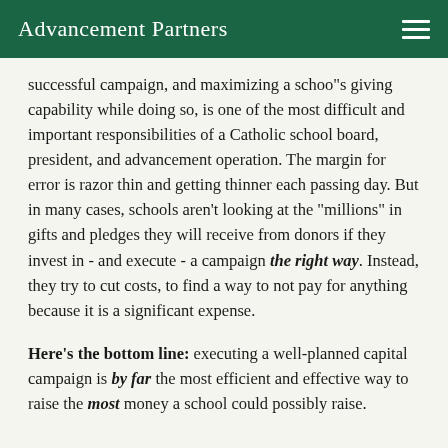Advancement Partners
successful campaign, and maximizing a schoo"s giving capability while doing so, is one of the most difficult and important responsibilities of a Catholic school board, president, and advancement operation. The margin for error is razor thin and getting thinner each passing day. But in many cases, schools aren't looking at the "millions" in gifts and pledges they will receive from donors if they invest in - and execute - a campaign the right way. Instead, they try to cut costs, to find a way to not pay for anything because it is a significant expense.
Here's the bottom line: executing a well-planned capital campaign is by far the most efficient and effective way to raise the most money a school could possibly raise.